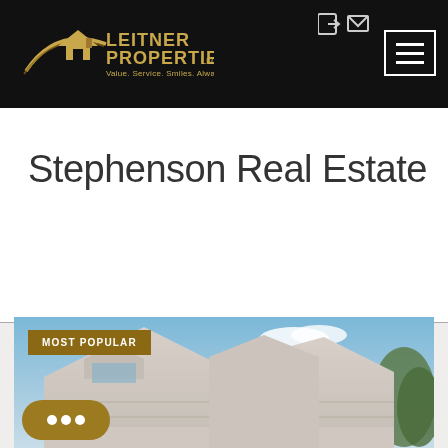Leitner Properties LLC — Value. Service. Smiles. Always close to home.
Stephenson Real Estate
[Figure (photo): Exterior photo of a residential house rooftop with blue sky and trees in the background. MOST POPULAR badge overlaid at top-left. Chat button at bottom-left.]